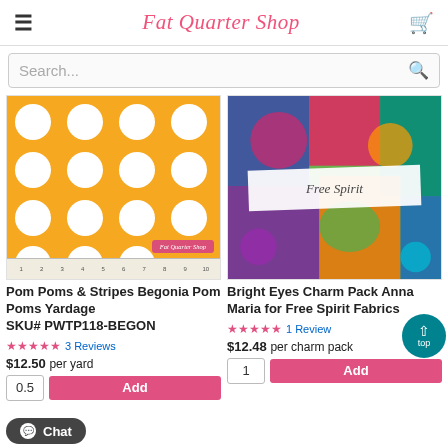Fat Quarter Shop
Search...
[Figure (photo): Orange polka dot fabric with white dots and a Fat Quarter Shop label, with a ruler at the bottom]
Pom Poms & Stripes Begonia Pom Poms Yardage
SKU# PWTP118-BEGON
★★★★★ 3 Reviews
$12.50 per yard
[Figure (photo): Bright Eyes Charm Pack by Anna Maria for Free Spirit Fabrics — colorful floral fabric pack with Free Spirit label band]
Bright Eyes Charm Pack Anna Maria for Free Spirit Fabrics
★★★★★ 1 Review
$12.48 per charm pack